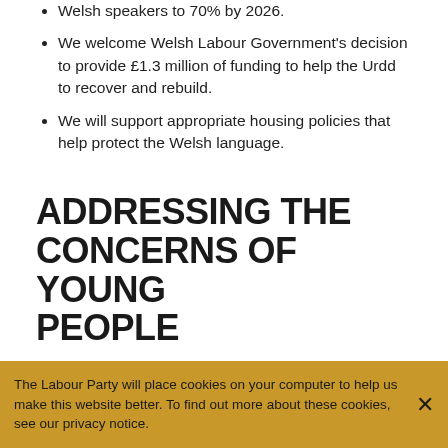Welsh speakers to 70% by 2026.
We welcome Welsh Labour Government's decision to provide £1.3 million of funding to help the Urdd to recover and rebuild.
We will support appropriate housing policies that help protect the Welsh language.
ADDRESSING THE CONCERNS OF YOUNG PEOPLE
PLEDGE We will place a high priority on listening to the concerns of young
The Labour Party will place cookies on your computer to help us make this website better. To find out more about these cookies, see our privacy notice.